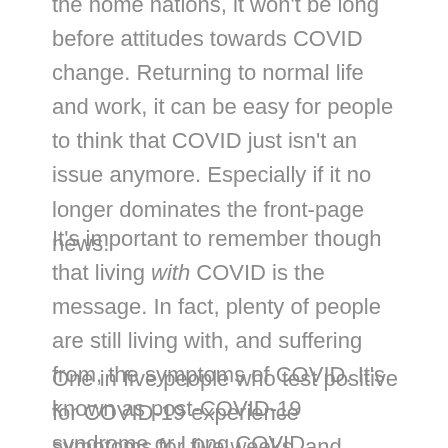the home nations, it won't be long before attitudes towards COVID change. Returning to normal life and work, it can be easy for people to think that COVID just isn't an issue anymore. Especially if it no longer dominates the front-page news.
It's important to remember though that living with COVID is the message. In fact, plenty of people are still living with, and suffering from, the symptoms of COVID. It's known as post-COVID-19 syndrome or Long COVID.
One in five people who test positive for COVID-19 experience symptoms for five weeks, and nearly one in seven can do so for up